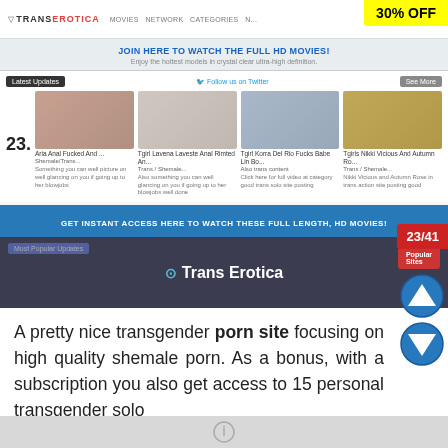[Figure (screenshot): Screenshot of TransErotica adult website showing navigation bar with logo, 30% OFF sale badge, HD movies banner, latest updates section with 4 movie tiles, access bar, and site preview section]
23/41
A pretty nice transgender porn site focusing on high quality shemale porn. As a bonus, with a subscription you also get access to 15 personal transgender solo